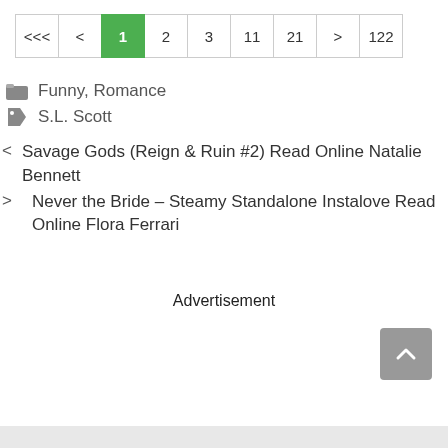<<< < 1 2 3 11 21 > 122
Funny, Romance
S.L. Scott
< Savage Gods (Reign & Ruin #2) Read Online Natalie Bennett
> Never the Bride – Steamy Standalone Instalove Read Online Flora Ferrari
Advertisement